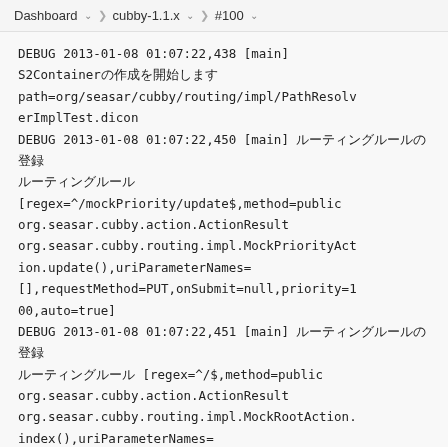Dashboard  >  cubby-1.1.x  >  #100
DEBUG 2013-01-08 01:07:22,438 [main] S2Containerの作成を開始します path=org/seasar/cubby/routing/impl/PathResolverImplTest.dicon
DEBUG 2013-01-08 01:07:22,450 [main] ルーティングルールの登録 [regex=^/mockPriority/update$,method=public org.seasar.cubby.action.ActionResult org.seasar.cubby.routing.impl.MockPriorityAction.update(),uriParameterNames=[],requestMethod=PUT,onSubmit=null,priority=100,auto=true]
DEBUG 2013-01-08 01:07:22,451 [main] ルーティングルールの登録 [regex=^/$,method=public org.seasar.cubby.action.ActionResult org.seasar.cubby.routing.impl.MockRootAction.index(),uriParameterNames=[],requestMethod=GET,onSubmit=null,priority=2